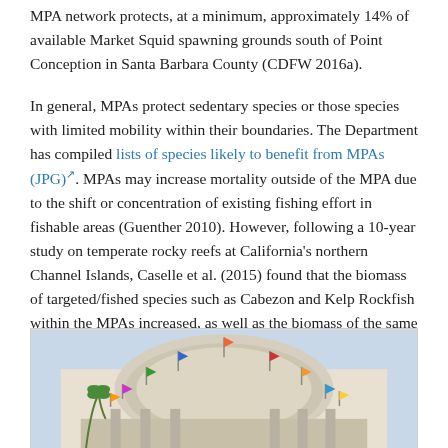MPA network protects, at a minimum, approximately 14% of available Market Squid spawning grounds south of Point Conception in Santa Barbara County (CDFW 2016a).
In general, MPAs protect sedentary species or those species with limited mobility within their boundaries. The Department has compiled lists of species likely to benefit from MPAs (JPG). MPAs may increase mortality outside of the MPA due to the shift or concentration of existing fishing effort in fishable areas (Guenther 2010). However, following a 10-year study on temperate rocky reefs at California's northern Channel Islands, Caselle et al. (2015) found that the biomass of targeted/fished species such as Cabezon and Kelp Rockfish within the MPAs increased, as well as the biomass of the same targeted species outside of the MPAs.
[Figure (photo): Photograph of a building dome with colorful flags around it, partially cropped at the bottom of the page.]